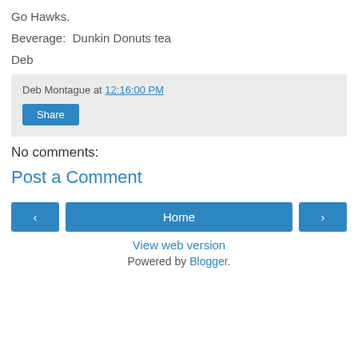Go Hawks.
Beverage:  Dunkin Donuts tea
Deb
Deb Montague at 12:16:00 PM
Share
No comments:
Post a Comment
‹
Home
›
View web version
Powered by Blogger.